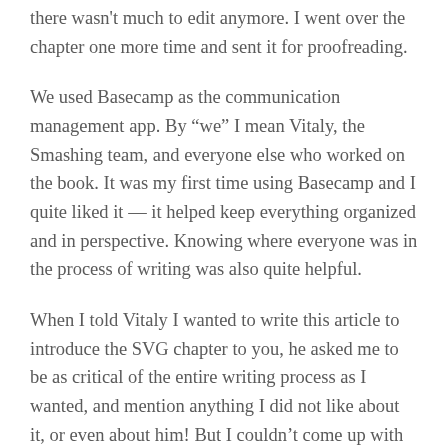there wasn't much to edit anymore. I went over the chapter one more time and sent it for proofreading.
We used Basecamp as the communication management app. By “we” I mean Vitaly, the Smashing team, and everyone else who worked on the book. It was my first time using Basecamp and I quite liked it — it helped keep everything organized and in perspective. Knowing where everyone was in the process of writing was also quite helpful.
When I told Vitaly I wanted to write this article to introduce the SVG chapter to you, he asked me to be as critical of the entire writing process as I wanted, and mention anything I did not like about it, or even about him! But I couldn’t come up with anything, really.
The one and only criticism I have is the delay in the release date. I’m a very punctual person and when we started working on the book it was scheduled to be